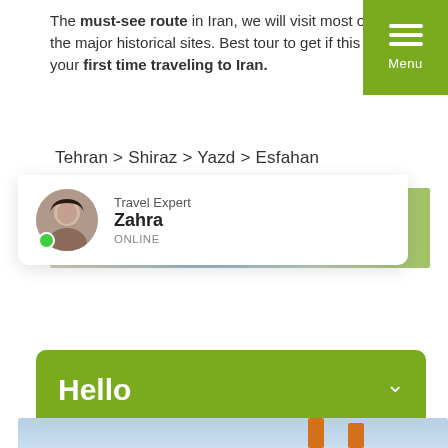The must-see route in Iran, we will visit most of the major historical sites. Best tour to get if this is your first time traveling to Iran.
[Figure (screenshot): Green hamburger menu button with three horizontal lines and 'Menu' label]
Tehran > Shiraz > Yazd > Esfahan
[Figure (screenshot): Green chat popup overlay with 'Hello' heading and 'Is there anything we can help you with?' subtext, with a travel expert card showing Zahra, ONLINE]
[Figure (screenshot): WhatsApp 'Let's Chat' green button with notification badge showing 1]